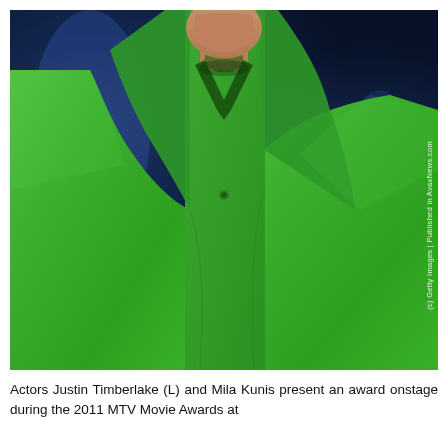[Figure (photo): A man wearing a bright green blazer jacket over a green polo shirt, photographed from approximately chest-up with a blue background. The photo has a watermark reading '(c) Getty Images | Published in AvaxNews.com' along the right side.]
Actors Justin Timberlake (L) and Mila Kunis present an award onstage during the 2011 MTV Movie Awards at